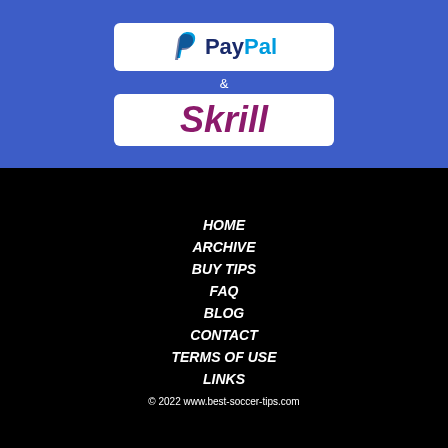[Figure (logo): PayPal logo in white rounded rectangle box on blue background]
&
[Figure (logo): Skrill logo in white rounded rectangle box on blue background]
HOME
ARCHIVE
BUY TIPS
FAQ
BLOG
CONTACT
TERMS OF USE
LINKS
© 2022 www.best-soccer-tips.com